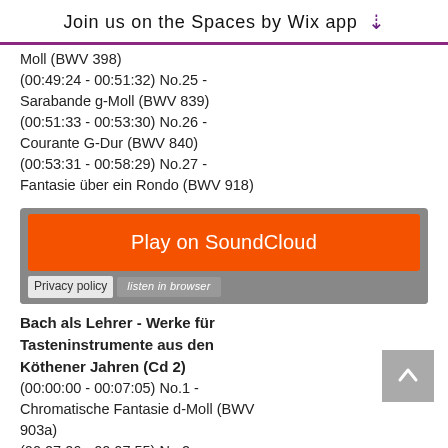Join us on the Spaces by Wix app
Moll (BWV 398)
(00:49:24 - 00:51:32) No.25 - Sarabande g-Moll (BWV 839)
(00:51:33 - 00:53:30) No.26 - Courante G-Dur (BWV 840)
(00:53:31 - 00:58:29) No.27 - Fantasie über ein Rondo (BWV 918)
[Figure (screenshot): SoundCloud embedded player widget with orange 'Play on SoundCloud' button, privacy policy link, and 'listen in browser' overlay text on grey background]
Bach als Lehrer - Werke für Tasteninstrumente aus den Köthener Jahren (Cd 2)
(00:00:00 - 00:07:05) No.1 - Chromatische Fantasie d-Moll (BWV 903a)
(00:07:06 - 00:07:55) No.2 - Application C-Dur (BWV 994)
(00:07:56 - 00:09:03) No.3 - Präludium C-Dur (BWV 924)